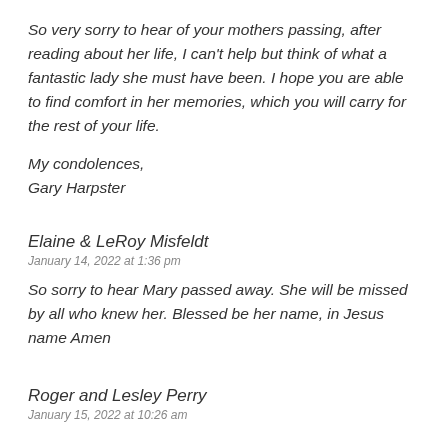So very sorry to hear of your mothers passing, after reading about her life, I can’t help but think of what a fantastic lady she must have been. I hope you are able to find comfort in her memories, which you will carry for the rest of your life.
My condolences,
Gary Harpster
Elaine & LeRoy Misfeldt
January 14, 2022 at 1:36 pm
So sorry to hear Mary passed away. She will be missed by all who knew her. Blessed be her name, in Jesus name Amen
Roger and Lesley Perry
January 15, 2022 at 10:26 am